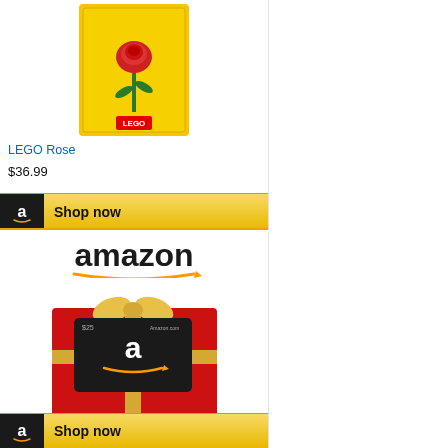[Figure (photo): LEGO Rose product in yellow box packaging]
LEGO Rose
$36.99
[Figure (screenshot): Shop now button with Amazon logo]
[Figure (photo): Amazon.com $25 Gift Card in red gift box with Amazon logo]
Amazon.com $25 Gift Card...
$25.00
[Figure (screenshot): Shop now button with Amazon logo (partial)]